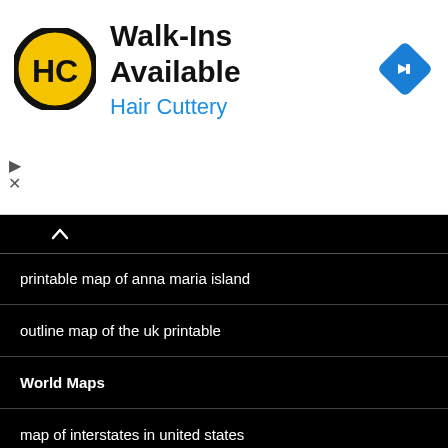[Figure (infographic): Hair Cuttery advertisement banner. HC logo (black and yellow circle), heading 'Walk-Ins Available', subtitle 'Hair Cuttery' in blue, blue diamond navigation arrow icon on the right. Controls: play triangle and X below on left.]
printable map of anna maria island
outline map of the uk printable
World Maps
map of interstates in united states
labeled us map
one duval street key west map
concealed carry map
8 1/2 x 11 SOUTHWESTERN ONTARIO PRINTABLE MAP
us state capitals